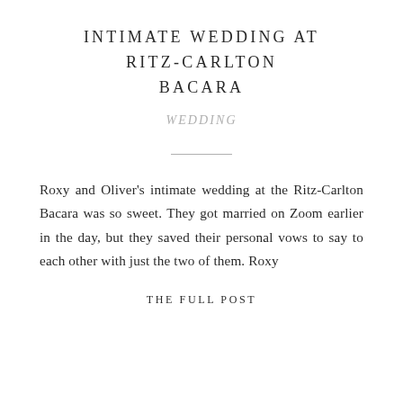INTIMATE WEDDING AT RITZ-CARLTON BACARA
WEDDING
Roxy and Oliver's intimate wedding at the Ritz-Carlton Bacara was so sweet. They got married on Zoom earlier in the day, but they saved their personal vows to say to each other with just the two of them. Roxy
THE FULL POST